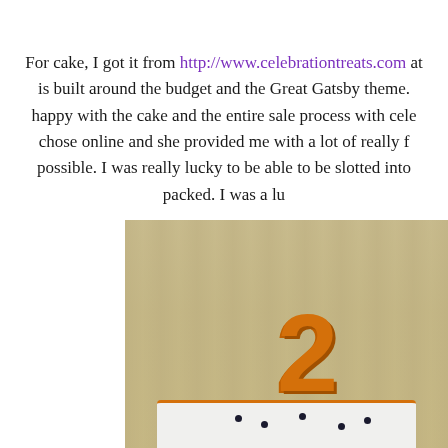For cake, I got it from http://www.celebrationtreats.com at is built around the budget and the Great Gatsby theme. happy with the cake and the entire sale process with cel chose online and she provided me with a lot of really f possible. I was really lucky to be able to be slotted int packed. I was a lu
[Figure (photo): Close-up photo of a celebration cake with large orange fondant numerals (21) on top, white cake base with black dot decorations, blurred curtain background]